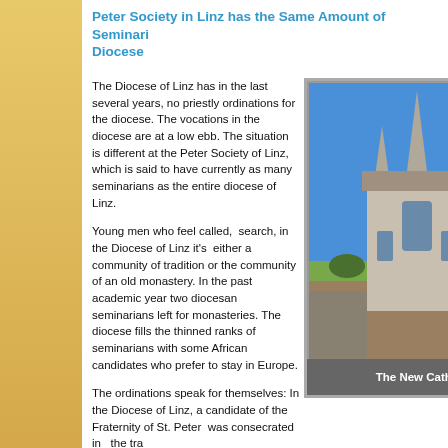Peter Society in Linz has the Same Amount of Seminarians as the Diocese
The Diocese of Linz has in the last several years, no priestly ordinations for the diocese. The vocations in the diocese are at a low ebb. The situation is different at the Peter Society of Linz, which is said to have currently as many seminarians as the entire diocese of Linz.
Young men who feel called,  search, in the Diocese of Linz it's  either a community of tradition or the community of an old monastery. In the past academic year two diocesan seminarians left for monasteries. The diocese fills the thinned ranks of seminarians with some African candidates who prefer to stay in Europe.
[Figure (photo): Photo of the New Cathedral (Neuer Dom) in Linz, Austria, showing Gothic-style architecture against a blue sky.]
The New Cathe
The ordinations speak for themselves: In the Diocese of Linz, a candidate of the Fraternity of St. Peter  was consecrated in  the tra